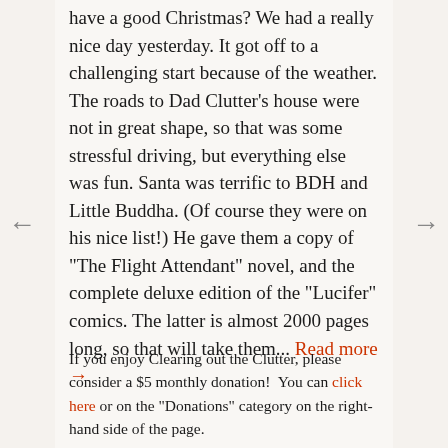have a good Christmas? We had a really nice day yesterday. It got off to a challenging start because of the weather. The roads to Dad Clutter's house were not in great shape, so that was some stressful driving, but everything else was fun. Santa was terrific to BDH and Little Buddha. (Of course they were on his nice list!) He gave them a copy of "The Flight Attendant" novel, and the complete deluxe edition of the "Lucifer" comics. The latter is almost 2000 pages long, so that will take them... Read more →
If you enjoy Clearing out the Clutter, please consider a $5 monthly donation!  You can click here or on the "Donations" category on the right-hand side of the page.